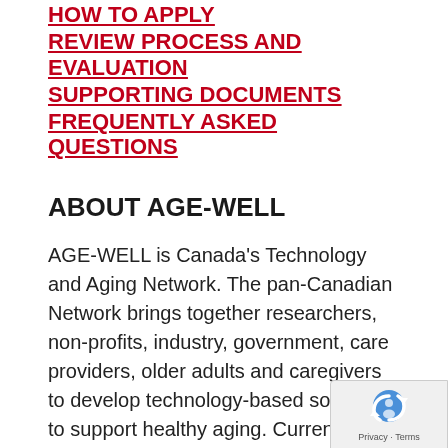HOW TO APPLY
REVIEW PROCESS AND EVALUATION
SUPPORTING DOCUMENTS
FREQUENTLY ASKED QUESTIONS
ABOUT AGE-WELL
AGE-WELL is Canada's Technology and Aging Network. The pan-Canadian Network brings together researchers, non-profits, industry, government, care providers, older adults and caregivers to develop technology-based solutions to support healthy aging. Currently, AGE-WELL includes more than 200 funded and affiliated researchers